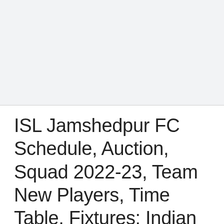ISL Jamshedpur FC Schedule, Auction, Squad 2022-23, Team New Players, Time Table, Fixtures: Indian Super League Teams 2022-23